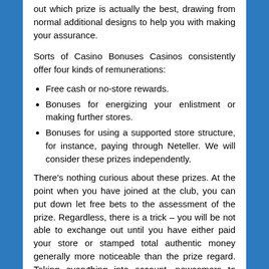out which prize is actually the best, drawing from normal additional designs to help you with making your assurance.
Sorts of Casino Bonuses Casinos consistently offer four kinds of remunerations:
Free cash or no-store rewards.
Bonuses for energizing your enlistment or making further stores.
Bonuses for using a supported store structure, for instance, paying through Neteller. We will consider these prizes independently.
There's nothing curious about these prizes. At the point when you have joined at the club, you can put down let free bets to the assessment of the prize. Regardless, there is a trick – you will be not able to exchange out until you have either paid your store or stamped total authentic money generally more noticeable than the prize regard. Taking everything into account, newcomers to online